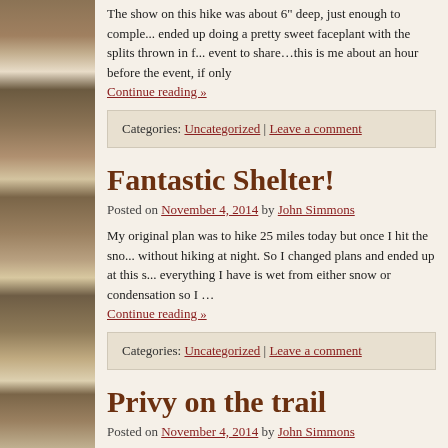The snow on this hike was about 6" deep, just enough to complete... ended up doing a pretty sweet faceplant with the splits thrown in f... event to share…this is me about an hour before the event, if only
Continue reading »
Categories: Uncategorized | Leave a comment
Fantastic Shelter!
Posted on November 4, 2014 by John Simmons
My original plan was to hike 25 miles today but once I hit the sno... without hiking at night. So I changed plans and ended up at this s... everything I have is wet from either snow or condensation so I …
Continue reading »
Categories: Uncategorized | Leave a comment
Privy on the trail
Posted on November 4, 2014 by John Simmons